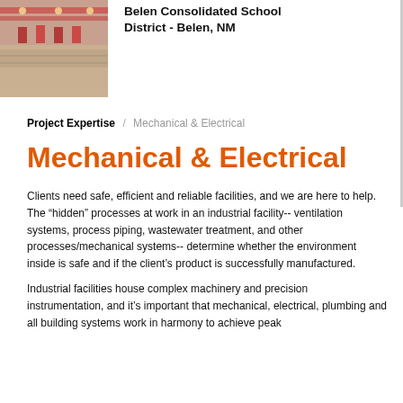[Figure (photo): Interior photo of a gymnasium with pink/red ceiling beams and banners hanging from the rafters, associated with Belen Consolidated School District - Belen, NM]
Belen Consolidated School District - Belen, NM
Project Expertise / Mechanical & Electrical
Mechanical & Electrical
Clients need safe, efficient and reliable facilities, and we are here to help. The “hidden” processes at work in an industrial facility-- ventilation systems, process piping, wastewater treatment, and other processes/mechanical systems-- determine whether the environment inside is safe and if the client’s product is successfully manufactured.
Industrial facilities house complex machinery and precision instrumentation, and it’s important that mechanical, electrical, plumbing and all building systems work in harmony to achieve peak